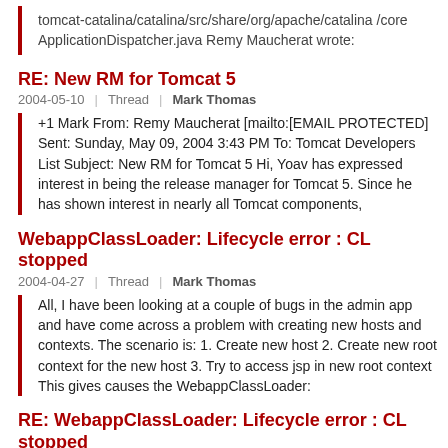tomcat-catalina/catalina/src/share/org/apache/catalina /core ApplicationDispatcher.java Remy Maucherat wrote:
RE: New RM for Tomcat 5
2004-05-10 | Thread | Mark Thomas
+1 Mark From: Remy Maucherat [mailto:[EMAIL PROTECTED] Sent: Sunday, May 09, 2004 3:43 PM To: Tomcat Developers List Subject: New RM for Tomcat 5 Hi, Yoav has expressed interest in being the release manager for Tomcat 5. Since he has shown interest in nearly all Tomcat components,
WebappClassLoader: Lifecycle error : CL stopped
2004-04-27 | Thread | Mark Thomas
All, I have been looking at a couple of bugs in the admin app and have come across a problem with creating new hosts and contexts. The scenario is: 1. Create new host 2. Create new root context for the new host 3. Try to access jsp in new root context This gives causes the WebappClassLoader:
RE: WebappClassLoader: Lifecycle error : CL stopped
2004-04-28 | Thread | Mark Thomas